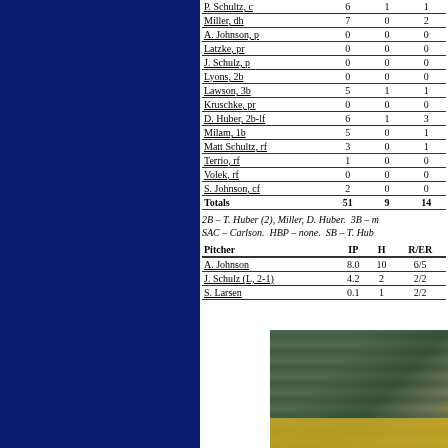| Player | AB | R | H |
| --- | --- | --- | --- |
| P. Schultz, c | 6 | 1 | 1 |
| Miller, dh | 7 | 0 | 2 |
| A. Johnson, p | 0 | 0 | 0 |
| Latzke, pr | 0 | 0 | 0 |
| J. Schulz, p | 0 | 0 | 0 |
| Lyons, 2b | 0 | 0 | 0 |
| Lawson, 3b | 5 | 1 | 1 |
| Kruschke, pr | 0 | 0 | 0 |
| D. Huber, 2b-lf | 6 | 1 | 3 |
| Milam, 1b | 5 | 0 | 1 |
| Matt Schultz, rf | 3 | 0 | 1 |
| Terrio, rf | 1 | 0 | 0 |
| Volek, rf | 0 | 0 | 0 |
| S. Johnson, cf | 2 | 0 | 0 |
| Totals | 51 | 9 | 14 |
2B – T. Huber (2), Miller, D. Huber.  3B – ... SAC – Carlson.  HBP – none.  SB – T. Hub...
| Pitcher | IP | H | R/ER |
| --- | --- | --- | --- |
| A. Johnson | 8.0 | 10 | 6/5 |
| J. Schulz (L, 2-1) | 4.2 | 2 | 2/2 |
| S. Larsen | 0.1 | 1 | 2/2 |
[Figure (photo): Partial photo showing what appears to be sports equipment or a dugout area with green surfaces and a yellow object.]